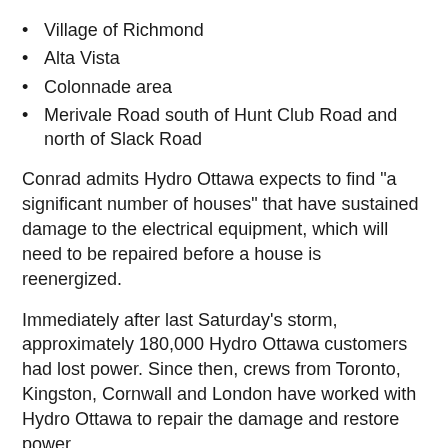Village of Richmond
Alta Vista
Colonnade area
Merivale Road south of Hunt Club Road and north of Slack Road
Conrad admits Hydro Ottawa expects to find "a significant number of houses" that have sustained damage to the electrical equipment, which will need to be repaired before a house is reenergized.
Immediately after last Saturday's storm, approximately 180,000 Hydro Ottawa customers had lost power. Since then, crews from Toronto, Kingston, Cornwall and London have worked with Hydro Ottawa to repair the damage and restore power.
"I fundamentally believe that there's a lack of appreciation for just how devastating this storm was. Every Windsor through Toronto and Patch...